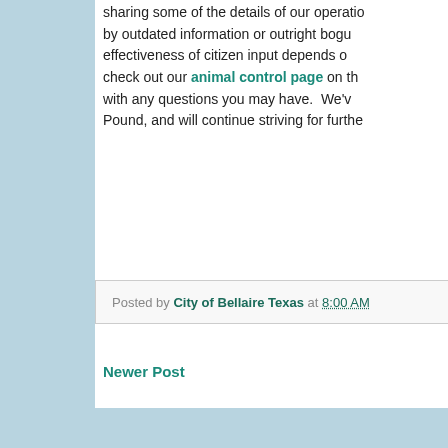sharing some of the details of our operations by outdated information or outright bogus effectiveness of citizen input depends on check out our animal control page on the with any questions you may have. We've Pound, and will continue striving for further
Posted by City of Bellaire Texas at 8:00 AM
Newer Post